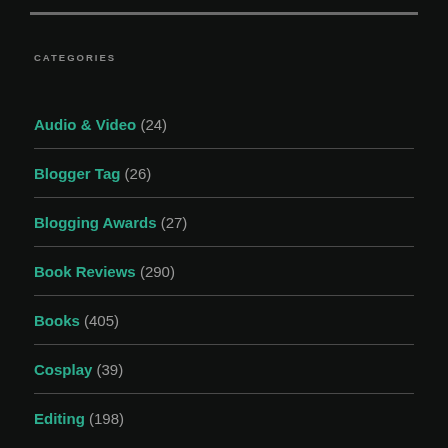CATEGORIES
Audio & Video (24)
Blogger Tag (26)
Blogging Awards (27)
Book Reviews (290)
Books (405)
Cosplay (39)
Editing (198)